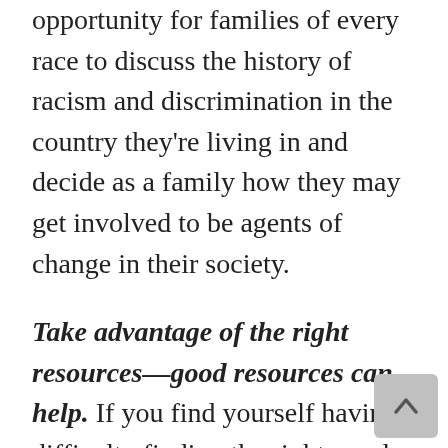opportunity for families of every race to discuss the history of racism and discrimination in the country they're living in and decide as a family how they may get involved to be agents of change in their society.
Take advantage of the right resources—good resources can help. If you find yourself having difficulty finding the right words to share with your children during these times, don't be afraid to use good books or other resources that might help you communicate effectively about this topic with your children. The tips shared above may also be helpful. This is a good